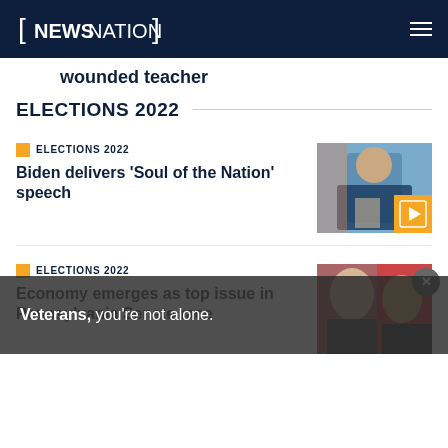NewsNation
wounded teacher
ELECTIONS 2022
ELECTIONS 2022
Biden delivers 'Soul of the Nation' speech
[Figure (photo): Photo of Biden speaking at a rally, with an orange video play badge overlay]
ELECTIONS 2022
Economy emerges as top issue in Pennsylvania Senate race
[Figure (photo): Photo of two people, partially obscured by ad banner overlay]
Veterans, you're not alone.